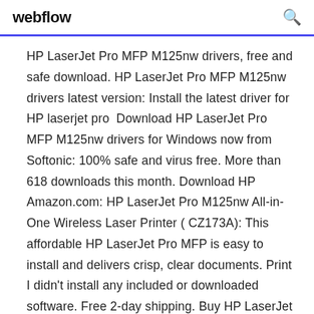webflow
HP LaserJet Pro MFP M125nw drivers, free and safe download. HP LaserJet Pro MFP M125nw drivers latest version: Install the latest driver for HP laserjet pro  Download HP LaserJet Pro MFP M125nw drivers for Windows now from Softonic: 100% safe and virus free. More than 618 downloads this month. Download HP Amazon.com: HP LaserJet Pro M125nw All-in-One Wireless Laser Printer ( CZ173A): This affordable HP LaserJet Pro MFP is easy to install and delivers crisp, clear documents. Print I didn't install any included or downloaded software. Free 2-day shipping. Buy HP LaserJet Pro MFP M125nw Multifunction Printer/